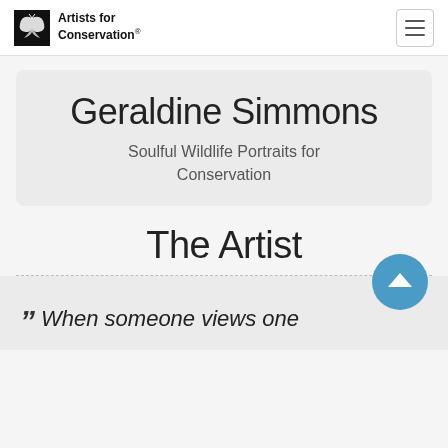Artists for Conservation
Geraldine Simmons
Soulful Wildlife Portraits for Conservation
The Artist
" When someone views one